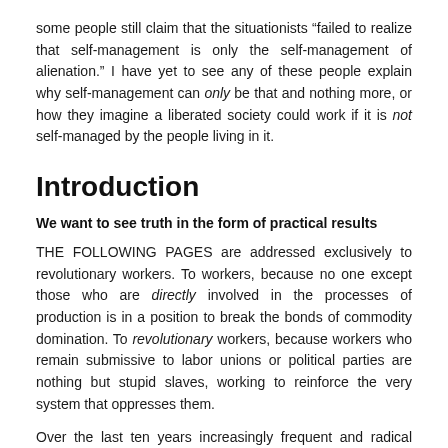some people still claim that the situationists “failed to realize that self-management is only the self-management of alienation.” I have yet to see any of these people explain why self-management can only be that and nothing more, or how they imagine a liberated society could work if it is not self-managed by the people living in it.
Introduction
We want to see truth in the form of practical results
THE FOLLOWING PAGES are addressed exclusively to revolutionary workers. To workers, because no one except those who are directly involved in the processes of production is in a position to break the bonds of commodity domination. To revolutionary workers, because workers who remain submissive to labor unions or political parties are nothing but stupid slaves, working to reinforce the very system that oppresses them.
Over the last ten years increasingly frequent and radical wildcat strikes have shaken bourgeois-bureaucratic domination, but have not yet succeeded in overthrowing it. This latent insurrectionary